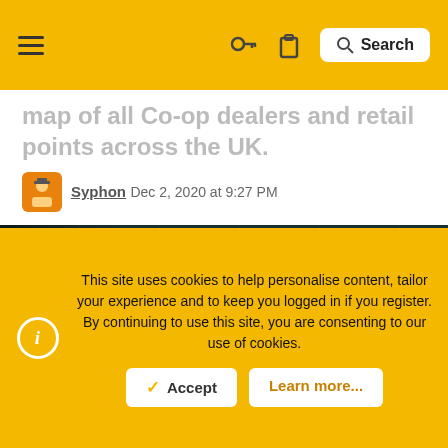Navigation bar with hamburger menu, key icon, clipboard icon, and Search button
map of all Co-op dealers and retail points across the UK.
Syphon Dec 2, 2020 at 9:27 PM
[Figure (photo): 3D rendered golden/bronze stylized star and 'COOP' letters on a teal grid background]
This site uses cookies to help personalise content, tailor your experience and to keep you logged in if you register. By continuing to use this site, you are consenting to our use of cookies.
Accept  Learn more...